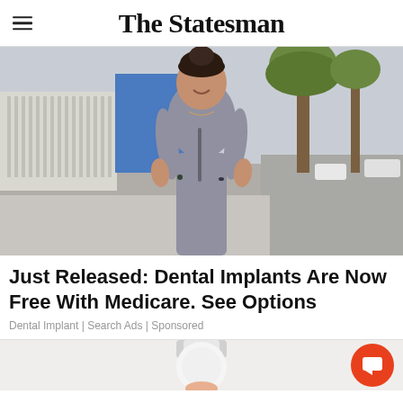The Statesman
[Figure (photo): A smiling woman with dark hair up in a bun, wearing a light blue/grey short-sleeve fitted top, standing outdoors on a sidewalk with a fence and trees in the background.]
Just Released: Dental Implants Are Now Free With Medicare. See Options
Dental Implant | Search Ads | Sponsored
[Figure (photo): Partial bottom photo, bottom of page, appears to show a light bulb or similar object.]